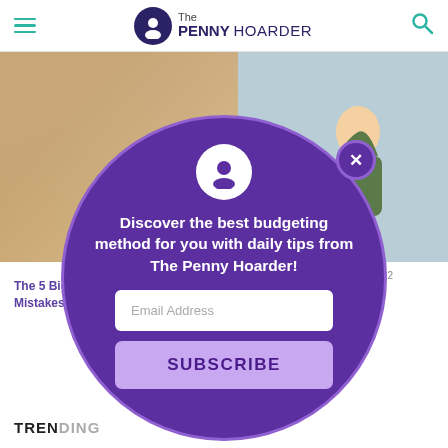The PENNY HOARDER
[Figure (screenshot): The Penny Hoarder website screenshot showing two article thumbnails and a subscription modal overlay with purple circle design]
Discover the best budgeting method for you with daily tips from The Penny Hoarder!
Email Address
SUBSCRIBE
2022
The 5 Biggest Money Mistakes Most Rich People...
Your Credit Score Is Under 200, Make These 6 Steps ASAP
Hoarder
TRENDING